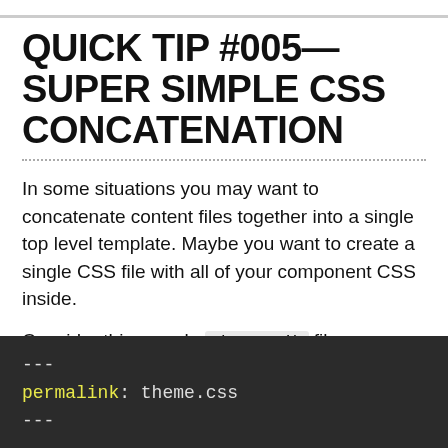QUICK TIP #005—SUPER SIMPLE CSS CONCATENATION
In some situations you may want to concatenate content files together into a single top level template. Maybe you want to create a single CSS file with all of your component CSS inside.
Consider this sample theme.njk file:
---
permalink: theme.css
---